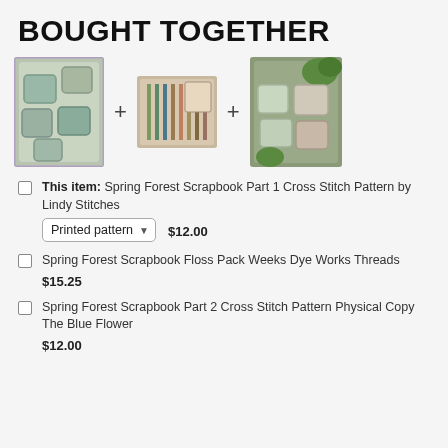BOUGHT TOGETHER
[Figure (photo): Three product images of cross stitch patterns and floss packs arranged in a row with plus signs between them]
This item: Spring Forest Scrapbook Part 1 Cross Stitch Pattern by Lindy Stitches — Printed pattern — $12.00
Spring Forest Scrapbook Floss Pack Weeks Dye Works Threads — $15.25
Spring Forest Scrapbook Part 2 Cross Stitch Pattern Physical Copy The Blue Flower — $12.00